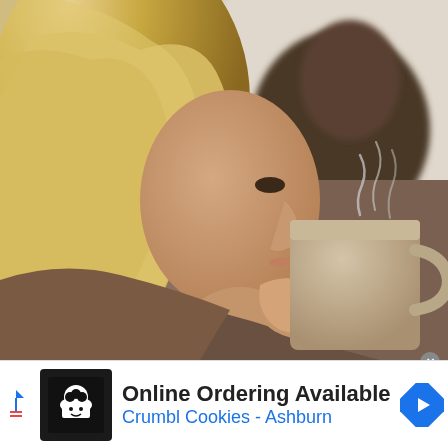[Figure (photo): A blonde woman in profile holding a large beige ceramic mug close to her face, appearing to blow on or smell hot coffee/tea with steam rising from it. Another person is partially visible in the background.]
[Figure (other): Advertisement banner: Crumbl Cookies logo (white chef icon on black background), text 'Online Ordering Available' in bold dark text, 'Crumbl Cookies - Ashburn' in blue text, blue diamond navigation arrow icon on right.]